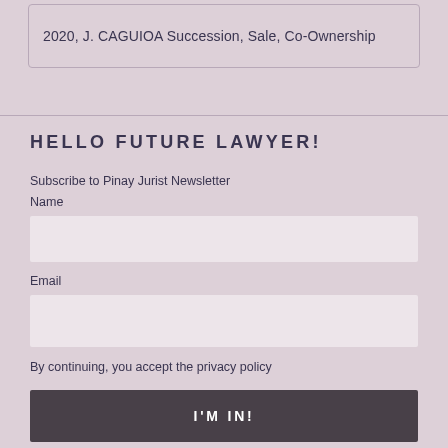2020, J. CAGUIOA Succession, Sale, Co-Ownership
HELLO FUTURE LAWYER!
Subscribe to Pinay Jurist Newsletter
Name
Email
By continuing, you accept the privacy policy
I'M IN!